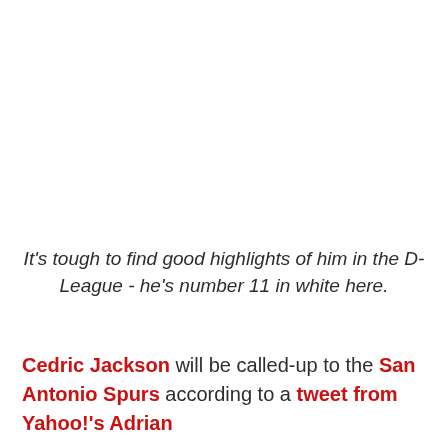It's tough to find good highlights of him in the D-League - he's number 11 in white here.
Cedric Jackson will be called-up to the San Antonio Spurs according to a tweet from Yahoo!'s Adrian